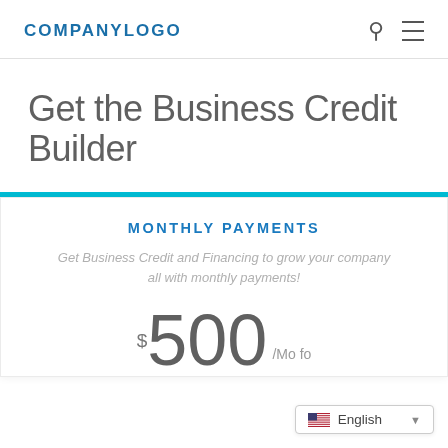[Figure (logo): Company logo text reading COMPANYLOGO in bold blue capital letters]
Get the Business Credit Builder
MONTHLY PAYMENTS
Get Business Credit and Financing to grow your company all with monthly payments!
$ 500 /Mo fo